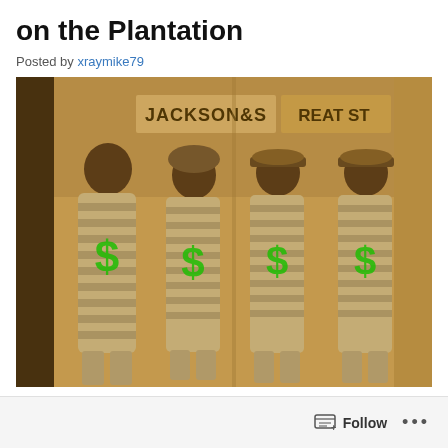on the Plantation
Posted by xraymike79
[Figure (photo): Sepia-toned historical photograph of four men in striped prison uniforms, each with a green dollar sign symbol overlaid on their chest. Signs reading 'JACKSON' and 'REAT ST' are visible in the background.]
Follow ...